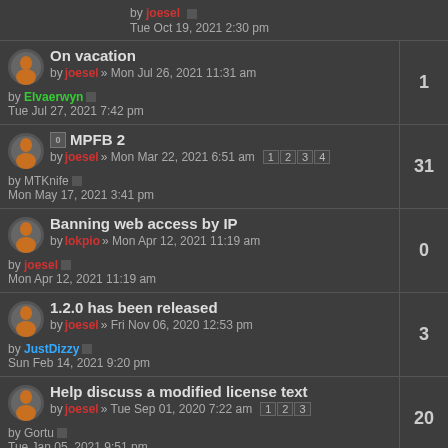by joesel Tue Oct 19, 2021 2:30 pm
On vacation by joesel » Mon Jul 26, 2021 11:31 am | 1 | by Elvaerwyn Tue Jul 27, 2021 7:42 pm | replies: 1
MPFB 2 by joesel » Mon Mar 22, 2021 6:51 am | 1 2 3 4 | by MTKnife Mon May 17, 2021 3:41 pm | replies: 31
Banning web access by IP by lokpio » Mon Apr 12, 2021 11:19 am | by joesel Mon Apr 12, 2021 11:19 am | replies: 0
1.2.0 has been released by joesel » Fri Nov 06, 2020 12:53 pm | by JustDizzy Sun Feb 14, 2021 9:20 pm | replies: 3
Help discuss a modified license text by joesel » Tue Sep 01, 2020 7:22 am | 1 2 3 | by Gortu Tue Jan 05, 2021 9:51 pm | replies: 20
Final release candidate by joesel » Tue Nov 03, 2020 9:33 am | replies: 0